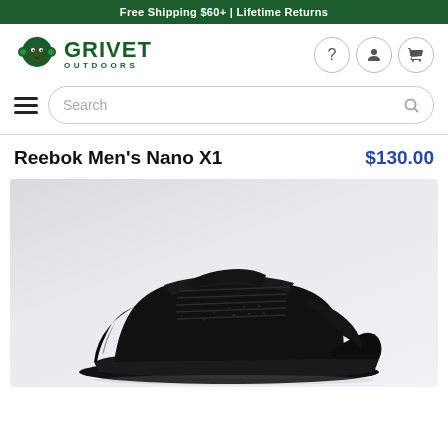Free Shipping $60+ | Lifetime Returns
[Figure (logo): Grivet Outdoors logo with monkey icon and text GRIVET OUTDOORS]
$130.00
Reebok Men's Nano X1
$130.00
[Figure (photo): Black Reebok Men's Nano X1 athletic shoe on a light gray background, side-angled view showing the full shoe from toe to heel]